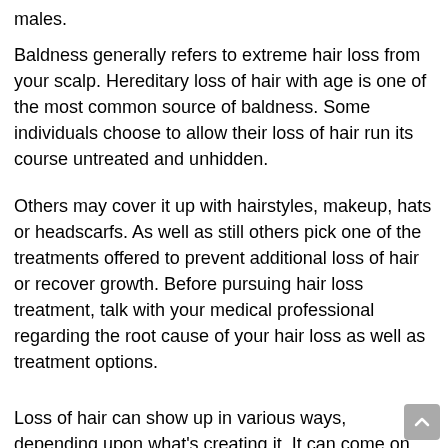males.
Baldness generally refers to extreme hair loss from your scalp. Hereditary loss of hair with age is one of the most common source of baldness. Some individuals choose to allow their loss of hair run its course untreated and unhidden.
Others may cover it up with hairstyles, makeup, hats or headscarfs. As well as still others pick one of the treatments offered to prevent additional loss of hair or recover growth. Before pursuing hair loss treatment, talk with your medical professional regarding the root cause of your hair loss as well as treatment options.
Loss of hair can show up in various ways, depending upon what's creating it. It can come on suddenly or gradually as